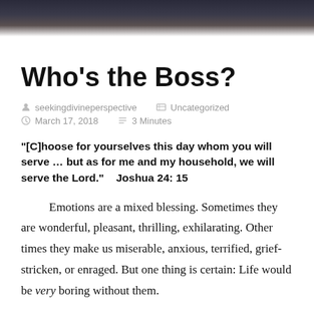[Figure (photo): Dark blurred header image with bokeh lighting effect, dark navy/brown tones fading to white]
Who’s the Boss?
seekingdivineperspective   Uncategorized   March 17, 2018   3 Minutes
“[C]hoose for yourselves this day whom you will serve … but as for me and my household, we will serve the Lord.”    Joshua 24: 15
Emotions are a mixed blessing. Sometimes they are wonderful, pleasant, thrilling, exhilarating. Other times they make us miserable, anxious, terrified, grief-stricken, or enraged. But one thing is certain: Life would be very boring without them.